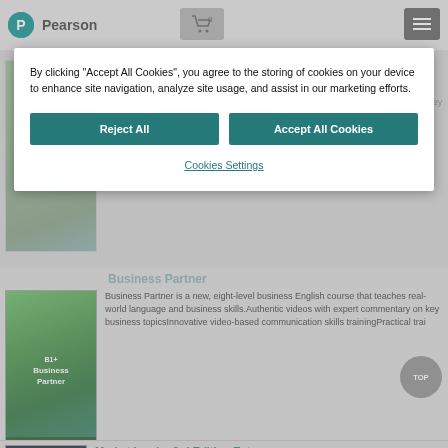Pearson
By clicking “Accept All Cookies”, you agree to the storing of cookies on your device to enhance site navigation, analyze site usage, and assist in our marketing efforts.
Reject All
Accept All Cookies
Cookies Settings
Business Partner
Business Partner is a new, eight-level business English course that teaches real-world language and business skills.Authentic videos with expert commentary on key business topicsInnovative video-based communication skills trainingPractical trai
Business Partner
Business Partner is a new, eight-level business English course that teaches real-world language and business skills.Authentic videos with expert commentary on key business topicsInnovative video-based communication skills trainingPractical trai
Market Leader 3rd Edition Extra
The 3rd edition of this ever popular course combines some fantastic new materials with all the features that have made